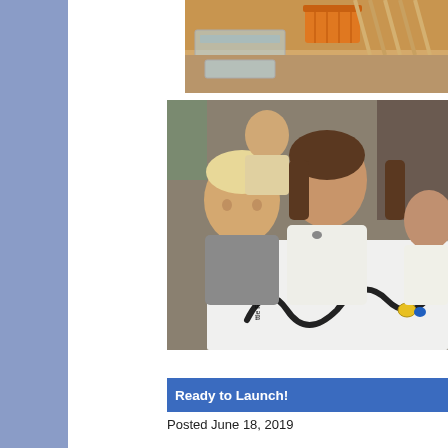[Figure (photo): Classroom scene showing craft supplies — an orange basket, clear plastic containers, and wooden dowels/sticks on a table.]
[Figure (photo): Young children in school uniforms seated at a table, looking at a white board with a winding black track and small toy figures; the board appears to relate to Peter Rabbit's world.]
Ready to Launch!
Posted June 18, 2019